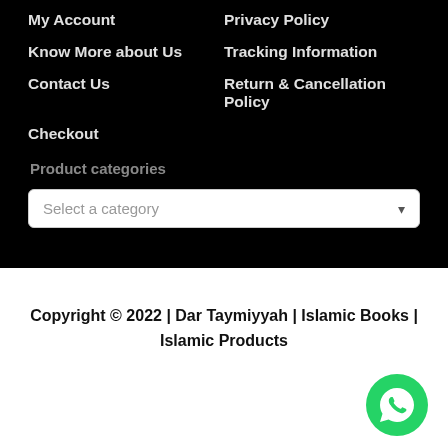My Account
Privacy Policy
Know More about Us
Tracking Information
Contact Us
Return & Cancellation Policy
Checkout
Product categories
[Figure (screenshot): Dropdown select box with placeholder text 'Select a category' and a down arrow]
Copyright © 2022 | Dar Taymiyyah | Islamic Books | Islamic Products
[Figure (logo): WhatsApp floating button icon — green circle with white phone/chat icon]